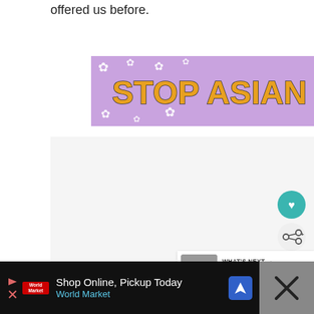offered us before.
[Figure (infographic): Stop Asian Hate advertisement banner with purple background, white flowers, bold orange text reading STOP ASIAN HATE, and an anime-style character on the right. A close (X) button in the top-right corner.]
[Figure (infographic): Floating teal circular button with a heart icon (like/favorite button)]
[Figure (infographic): Floating white circular button with a share icon]
[Figure (infographic): What's Next panel showing a thumbnail image and text: WHAT'S NEXT → RC Power Supply Basics]
[Figure (infographic): Bottom advertisement bar on black background: Shop Online, Pickup Today — World Market, with navigation icon and a close button on the right side showing an X mark]